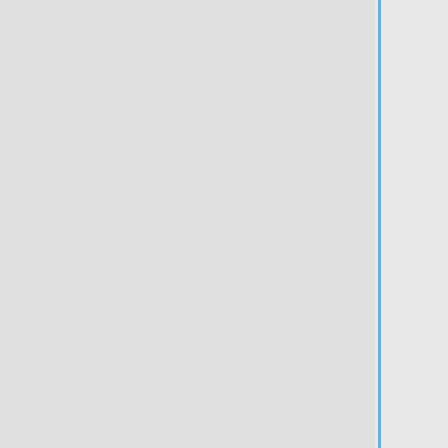By using nearly 5 million parameters, GoogLeNet, compared to previous architectures like VGGNet and AlexNet, reduced the number of parameters in the network by almost 92%. This enabled Inception to be used for many big data applications where a huge amount of data was needed to